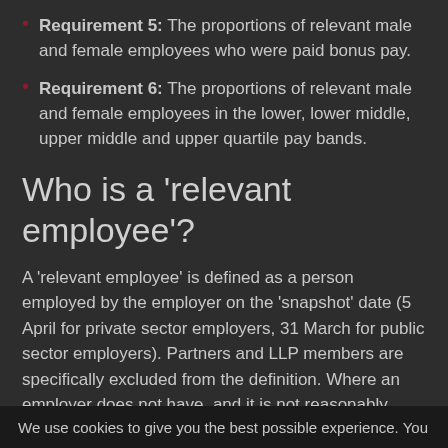Requirement 5: The proportions of relevant male and female employees who were paid bonus pay.
Requirement 6: The proportions of relevant male and female employees in the lower, lower middle, upper middle and upper quartile pay bands.
Who is a 'relevant employee'?
A 'relevant employee' is defined as a person employed by the employer on the 'snapshot' date (5 April for private sector employers, 31 March for public sector employers). Partners and LLP members are specifically excluded from the definition. Where an employer does not have, and it is not reasonably practicable for the employer to get, data about relevant employees who are contracted personally to do work (as may be the
We use cookies to give you the best possible experience. You